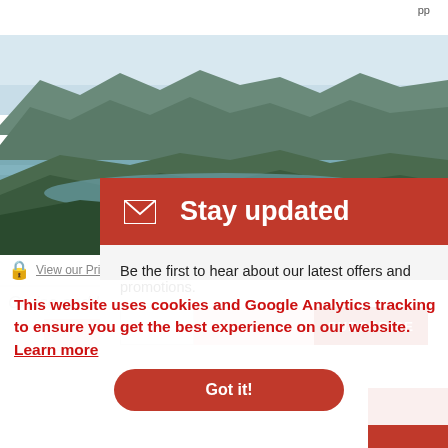pp
[Figure (photo): Aerial/landscape photograph of a coastal mountain region with water inlets, green hills and mountains in the background under a pale sky — Tasmania's coast.]
Stay updated
Be the first to hear about our latest offers and promotions.
This website uses cookies and Google Analytics tracking to ensure you get the best experience on our website. Learn more
View our Privacy Policy
Cruise and hike Tasmania's coast.
Got it!
FIND OUT MORE